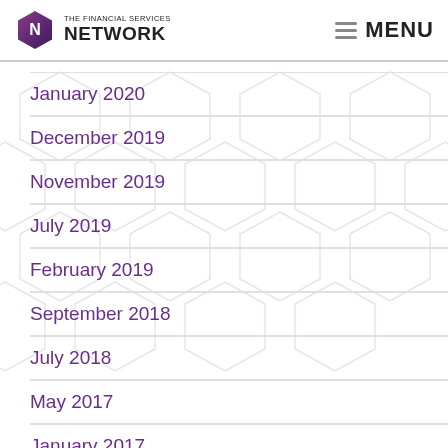THE FINANCIAL SERVICES NETWORK | MENU
January 2020
December 2019
November 2019
July 2019
February 2019
September 2018
July 2018
May 2017
January 2017